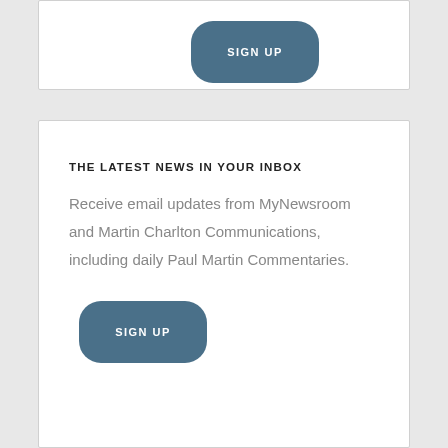[Figure (other): SIGN UP button with rounded rectangle shape in dark teal/steel blue color]
THE LATEST NEWS IN YOUR INBOX
Receive email updates from MyNewsroom and Martin Charlton Communications, including daily Paul Martin Commentaries.
[Figure (other): SIGN UP button with rounded rectangle shape in dark teal/steel blue color]